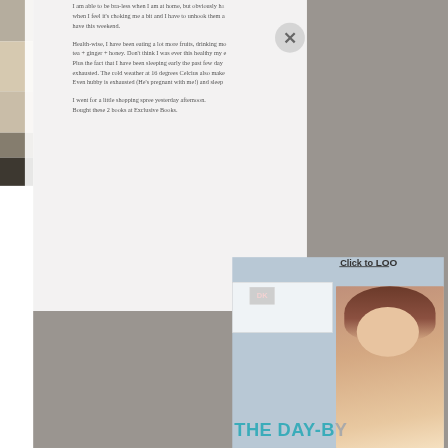I am able to be bra-less when I am at home, but obviously ha... when I feel it's choking me a bit and I have to unhook them a... have this weekend.
Health-wise, I have been eating a lot more fruits, drinking mo... tea + ginger + honey. Don't think I was ever this healthy my e... Plus the fact that I have been sleeping early the past few day... exhausted. The cold weather at 16 degrees Celcius also make... Even hubby is exhausted (He's pregnant with me!) and sleep...
I went for a little shopping spree yesterday afternoon. Bought these 2 books at Exclusive Books.
[Figure (photo): Book cover showing a pregnant woman, DK publisher logo, titled 'THE DAY-BY...' with a 'Click to LOOK' overlay and a second book panel visible.]